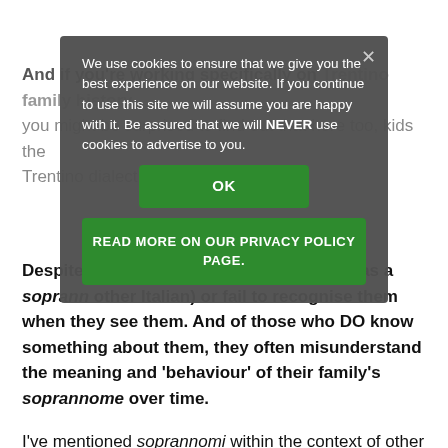And if you're working specifically on Trentino family history, you might be surprised to find out that here too, kids the Trentino dialect word fo[r]...
[Figure (screenshot): Cookie consent overlay with OK button and READ MORE ON OUR PRIVACY POLICY PAGE button, on a semi-transparent dark background. Text reads: We use cookies to ensure that we give you the best experience on our website. If you continue to use this site we will assume you are happy with it. Be assured that we will NEVER use cookies to advertise to you.]
Despite the fact that EVE[ry Italian of] of Italian origin has a soprann[ome ...] other Italian) [... they fail] to recognise them when they see them. And of those who DO know something about them, they often misunderstand the meaning and 'behaviour' of their family's soprannome over time.
I've mentioned soprannomi within the context of other articles on this website but have never spoken about them in detail. As this subject is such an important part of Trentino genealogy, I thought it would be helpful to devote an entire article to the subject.